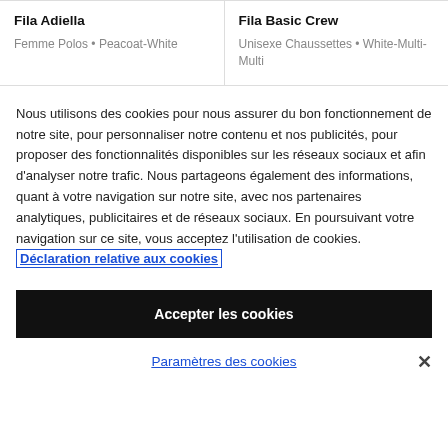| Product | Product |
| --- | --- |
| Fila Adiella
Femme Polos • Peacoat-White | Fila Basic Crew
Unisexe Chaussettes • White-Multi-Multi |
Nous utilisons des cookies pour nous assurer du bon fonctionnement de notre site, pour personnaliser notre contenu et nos publicités, pour proposer des fonctionnalités disponibles sur les réseaux sociaux et afin d'analyser notre trafic. Nous partageons également des informations, quant à votre navigation sur notre site, avec nos partenaires analytiques, publicitaires et de réseaux sociaux. En poursuivant votre navigation sur ce site, vous acceptez l'utilisation de cookies.  Déclaration relative aux cookies
Accepter les cookies
Paramètres des cookies